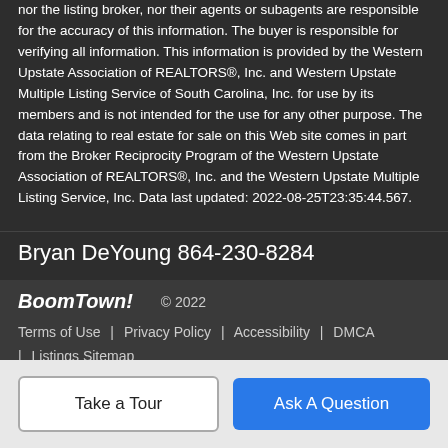nor the listing broker, nor their agents or subagents are responsible for the accuracy of this information. The buyer is responsible for verifying all information. This information is provided by the Western Upstate Association of REALTORS®, Inc. and Western Upstate Multiple Listing Service of South Carolina, Inc. for use by its members and is not intended for the use for any other purpose. The data relating to real estate for sale on this Web site comes in part from the Broker Reciprocity Program of the Western Upstate Association of REALTORS®, Inc. and the Western Upstate Multiple Listing Service, Inc. Data last updated: 2022-08-25T23:35:44.567.
Bryan DeYoung 864-230-8284
BoomTown! © 2022 | Terms of Use | Privacy Policy | Accessibility | DMCA | Listings Sitemap
Take a Tour
Ask A Question